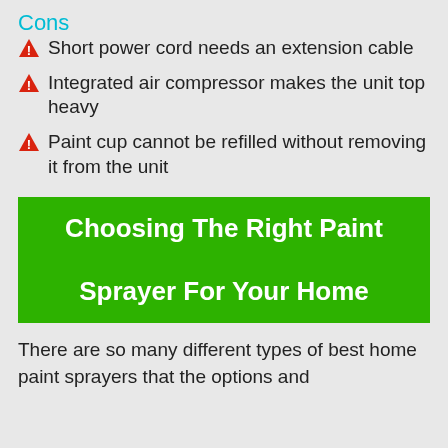Cons
Short power cord needs an extension cable
Integrated air compressor makes the unit top heavy
Paint cup cannot be refilled without removing it from the unit
Choosing The Right Paint Sprayer For Your Home
There are so many different types of best home paint sprayers that the options and